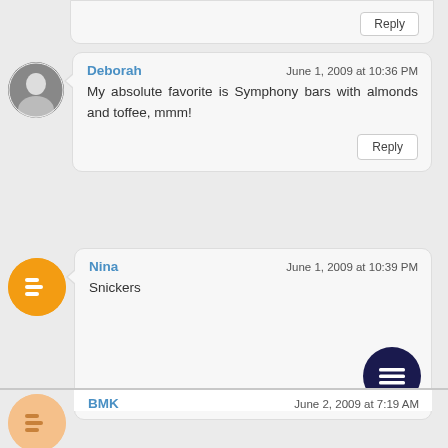Reply
Deborah — June 1, 2009 at 10:36 PM — My absolute favorite is Symphony bars with almonds and toffee, mmm!
Reply
Nina — June 1, 2009 at 10:39 PM — Snickers
BMK — June 2, 2009 at 7:19 AM